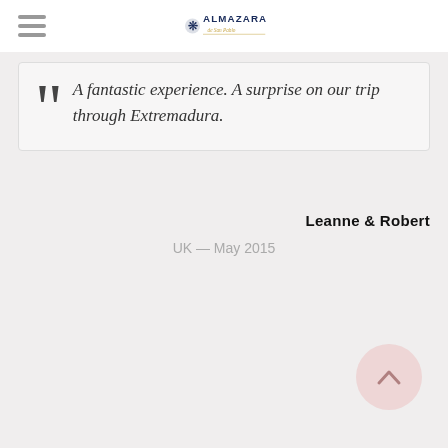Almazara logo with hamburger menu
A fantastic experience. A surprise on our trip through Extremadura.
Leanne & Robert
UK — May 2015